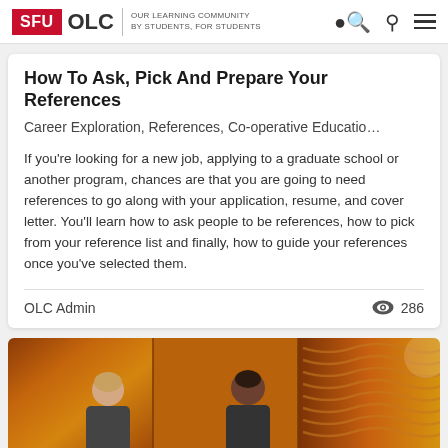SFU OLC | OUR LEARNING COMMUNITY BY STUDENTS, FOR STUDENTS
How To Ask, Pick And Prepare Your References
Career Exploration, References, Co-operative Educatio...
If you're looking for a new job, applying to a graduate school or another program, chances are that you are going to need references to go along with your application, resume, and cover letter. You'll learn how to ask people to be references, how to pick from your reference list and finally, how to guide your references once you've selected them.
OLC Admin                          286
[Figure (photo): Two people in conversation, one with light hair and one with dark hair, in front of a warm orange/golden background]